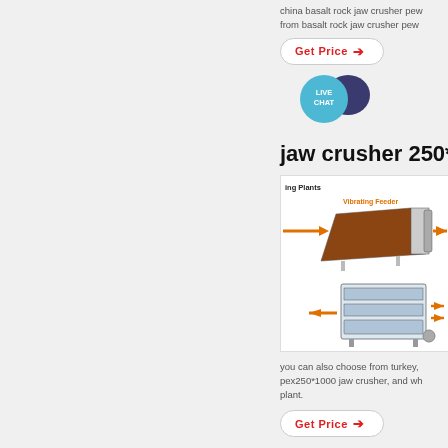china basalt rock jaw crusher pew from basalt rock jaw crusher pew
[Figure (screenshot): Get Price button with red bold text and right arrow, rounded border]
[Figure (illustration): Live Chat bubble icon in teal circle with dark purple speech bubble tail]
jaw crusher 250*1
[Figure (photo): Diagram of crushing plant components showing vibrating feeder and vibrating screen with orange arrows indicating flow direction]
you can also choose from turkey, pex250*1000 jaw crusher, and wh plant.
[Figure (screenshot): Get Price button with red bold text and right arrow, rounded border]